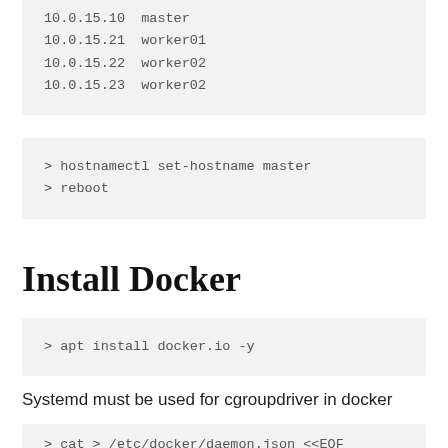10.0.15.10  master
10.0.15.21  worker01
10.0.15.22  worker02
10.0.15.23  worker02
> hostnamectl set-hostname master
> reboot
Install Docker
> apt install docker.io -y
Systemd must be used for cgroupdriver in docker
> cat > /etc/docker/daemon.json <<EOF